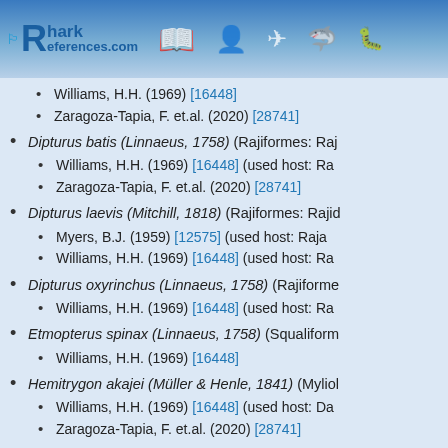SharkReferences.com
Williams, H.H. (1969) [16448]
Zaragoza-Tapia, F. et.al. (2020) [28741]
Dipturus batis (Linnaeus, 1758) (Rajiformes: Raj...
Williams, H.H. (1969) [16448] (used host: Ra...
Zaragoza-Tapia, F. et.al. (2020) [28741]
Dipturus laevis (Mitchill, 1818) (Rajiformes: Rajid...
Myers, B.J. (1959) [12575] (used host: Raja...
Williams, H.H. (1969) [16448] (used host: Ra...
Dipturus oxyrinchus (Linnaeus, 1758) (Rajiforme...
Williams, H.H. (1969) [16448] (used host: Ra...
Etmopterus spinax (Linnaeus, 1758) (Squaliform...
Williams, H.H. (1969) [16448]
Hemitrygon akajei (Müller & Henle, 1841) (Myliol...
Williams, H.H. (1969) [16448] (used host: Da...
Zaragoza-Tapia, F. et.al. (2020) [28741]
Leucoraja ocellata (Mitchill, 1815) (Rajiformes: R...
Myers, B.J. (1959) [12575] (used host: Raja...
Williams, H.H. (1969) [16448] (used host: Ra...
Mustelus mustelus (Linnaeus, 1758) (Carcharhin...
Baer, J.G. (1948) [16247] (used host: Muste...
Goldstein, R.J. (1967) [16175]
Williams, H.H. (1969) [16448]
Zaragoza-Tapia, F. et.al. (2020) [28741]